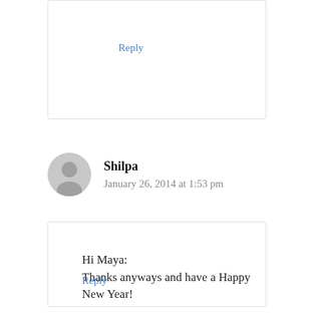Reply
Shilpa
January 26, 2014 at 1:53 pm
Hi Maya:
Thanks anyways and have a Happy New Year!
Reply